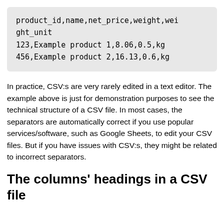[Figure (other): Code block showing CSV file content with header row and two data rows: product_id,name,net_price,weight,weight_unit; 123,Example product 1,8.06,0.5,kg; 456,Example product 2,16.13,0.6,kg]
In practice, CSV:s are very rarely edited in a text editor. The example above is just for demonstration purposes to see the technical structure of a CSV file. In most cases, the separators are automatically correct if you use popular services/software, such as Google Sheets, to edit your CSV files. But if you have issues with CSV:s, they might be related to incorrect separators.
The columns' headings in a CSV file